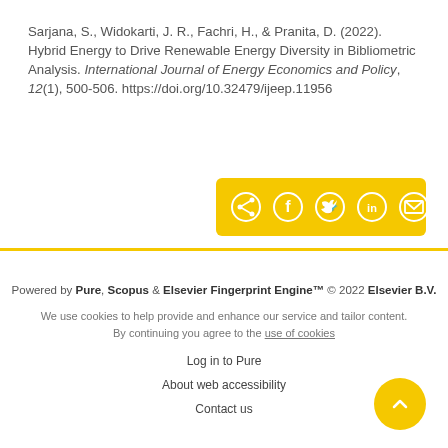Sarjana, S., Widokarti, J. R., Fachri, H., & Pranita, D. (2022). Hybrid Energy to Drive Renewable Energy Diversity in Bibliometric Analysis. International Journal of Energy Economics and Policy, 12(1), 500-506. https://doi.org/10.32479/ijeep.11956
[Figure (other): Social sharing toolbar with yellow background containing share, Facebook, Twitter, LinkedIn, and email icons]
Powered by Pure, Scopus & Elsevier Fingerprint Engine™ © 2022 Elsevier B.V.
We use cookies to help provide and enhance our service and tailor content. By continuing you agree to the use of cookies
Log in to Pure
About web accessibility
Contact us